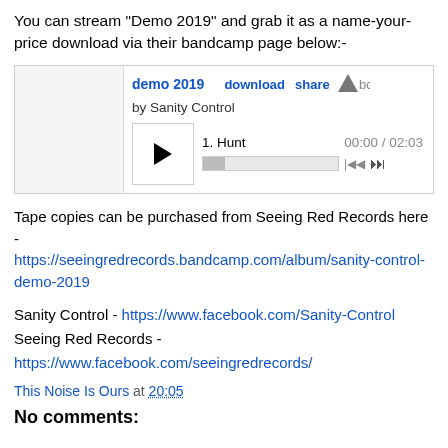You can stream "Demo 2019" and grab it as a name-your-price download via their bandcamp page below:-
[Figure (screenshot): Embedded Bandcamp music player showing 'demo 2019' by Sanity Control, with track 1. Hunt, duration 00:00 / 02:03, with play button, progress bar, and controls.]
Tape copies can be purchased from Seeing Red Records here -
https://seeingredrecords.bandcamp.com/album/sanity-control-demo-2019
Sanity Control - https://www.facebook.com/Sanity-Control
Seeing Red Records - https://www.facebook.com/seeingredrecords/
This Noise Is Ours at 20:05
No comments: